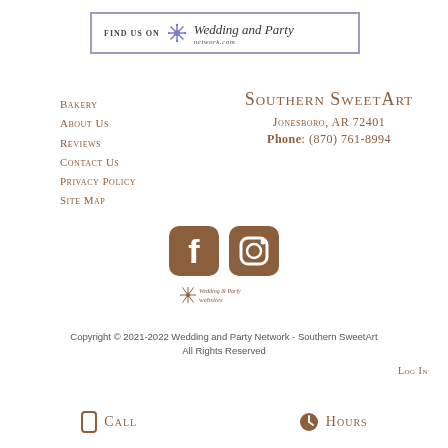[Figure (logo): Wedding and Party Network banner logo with purple border, snowflake icon, 'Find Us On' text, and 'Wedding and Party network.com' script text]
Bakery
About Us
Reviews
Contact Us
Privacy Policy
Site Map
Southern SweetArt
Jonesboro, AR 72401
Phone: (870) 761-8994
[Figure (logo): Facebook and Instagram social media icons in brown, followed by Wedding and Party Websites small logo]
Copyright © 2021-2022 Wedding and Party Network - Southern SweetArt
All Rights Reserved
Log In
Call
Hours